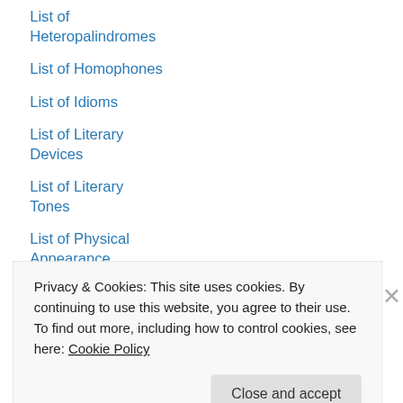List of Heteropalindromes
List of Homophones
List of Idioms
List of Literary Devices
List of Literary Tones
List of Physical Appearance Adjectives
List of Physics Terms
List of Positive Personality Adjectives
List of Prefixes
List of Prepositions
List of Public Relations Terms Unabridged
List of Science Majors
List of Scientific Terms
Privacy & Cookies: This site uses cookies. By continuing to use this website, you agree to their use.
To find out more, including how to control cookies, see here: Cookie Policy
Close and accept